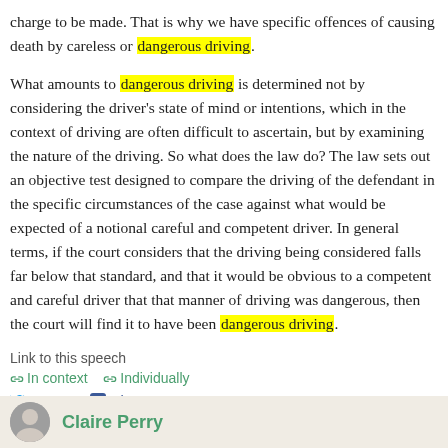charge to be made. That is why we have specific offences of causing death by careless or dangerous driving.
What amounts to dangerous driving is determined not by considering the driver's state of mind or intentions, which in the context of driving are often difficult to ascertain, but by examining the nature of the driving. So what does the law do? The law sets out an objective test designed to compare the driving of the defendant in the specific circumstances of the case against what would be expected of a notional careful and competent driver. In general terms, if the court considers that the driving being considered falls far below that standard, and that it would be obvious to a competent and careful driver that that manner of driving was dangerous, then the court will find it to have been dangerous driving.
Link to this speech
In context  Individually
Tweet  Share
(Citation: HC Deb, 13 September 2016, c313WH)
Claire Perry